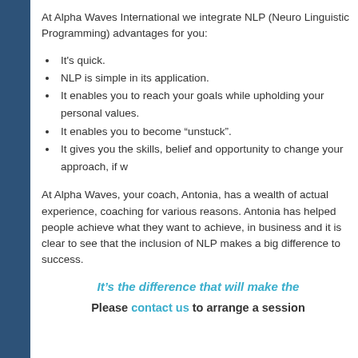At Alpha Waves International we integrate NLP (Neuro Linguistic Programming) advantages for you:
It's quick.
NLP is simple in its application.
It enables you to reach your goals while upholding your personal values.
It enables you to become “unstuck”.
It gives you the skills, belief and opportunity to change your approach, if w
At Alpha Waves, your coach, Antonia, has a wealth of actual experience, coaching for various reasons. Antonia has helped people achieve what they want to achieve, in business and it is clear to see that the inclusion of NLP makes a big difference to success.
It’s the difference that will make the
Please contact us to arrange a session